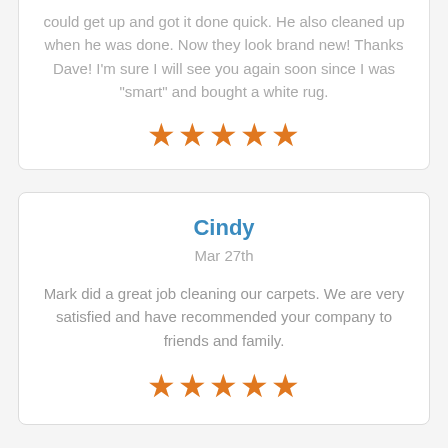could get up and got it done quick. He also cleaned up when he was done. Now they look brand new! Thanks Dave! I'm sure I will see you again soon since I was "smart" and bought a white rug.
[Figure (other): Five orange stars rating]
Cindy
Mar 27th
Mark did a great job cleaning our carpets. We are very satisfied and have recommended your company to friends and family.
[Figure (other): Five orange stars rating]